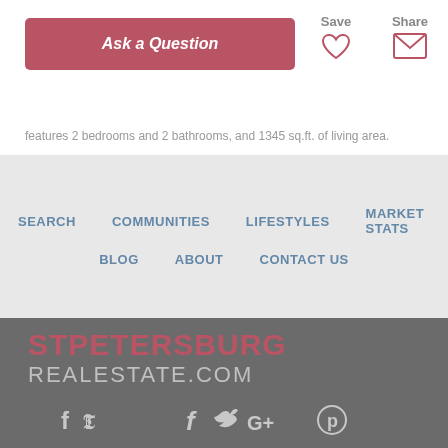Ask a Question
Save
Share
features 2 bedrooms and 2 bathrooms, and 1345 sq.ft. of living area.
SEARCH
COMMUNITIES
LIFESTYLES
MARKET STATS
BLOG
ABOUT
CONTACT US
STPETERSBURG REALESTATE.COM
[Figure (illustration): Social media icons: Facebook, Twitter, Google+, Pinterest]